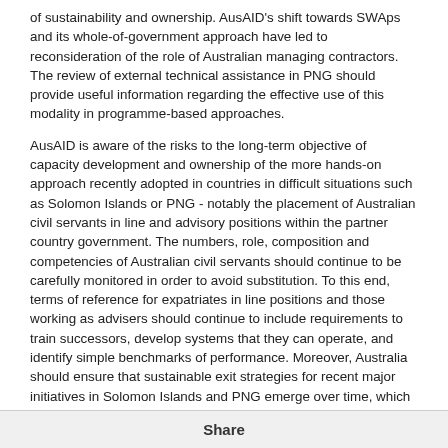of sustainability and ownership. AusAID's shift towards SWAps and its whole-of-government approach have led to reconsideration of the role of Australian managing contractors. The review of external technical assistance in PNG should provide useful information regarding the effective use of this modality in programme-based approaches.
AusAID is aware of the risks to the long-term objective of capacity development and ownership of the more hands-on approach recently adopted in countries in difficult situations such as Solomon Islands or PNG - notably the placement of Australian civil servants in line and advisory positions within the partner country government. The numbers, role, composition and competencies of Australian civil servants should continue to be carefully monitored in order to avoid substitution. To this end, terms of reference for expatriates in line positions and those working as advisers should continue to include requirements to train successors, develop systems that they can operate, and identify simple benchmarks of performance. Moreover, Australia should ensure that sustainable exit strategies for recent major initiatives in Solomon Islands and PNG emerge over time, which requires careful articulation of approaches now.
NGOs play an important complementary role in delivering the Australian development co operation programme. The Australian government provides approximately 15% of the total funds managed by the NGO sector. Along with an accreditation process, it is engaging in a new
Share